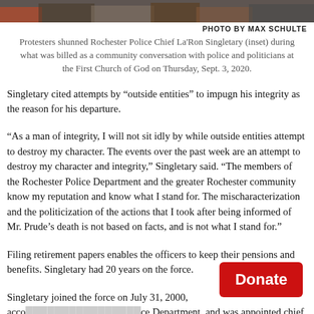[Figure (photo): Top strip of a photograph showing protesters, partially visible at top of page]
PHOTO BY MAX SCHULTE
Protesters shunned Rochester Police Chief La'Ron Singletary (inset) during what was billed as a community conversation with police and politicians at the First Church of God on Thursday, Sept. 3, 2020.
Singletary cited attempts by “outside entities” to impugn his integrity as the reason for his departure.
“As a man of integrity, I will not sit idly by while outside entities attempt to destroy my character. The events over the past week are an attempt to destroy my character and integrity,” Singletary said. “The members of the Rochester Police Department and the greater Rochester community know my reputation and know what I stand for. The mischaracterization and the politicization of the actions that I took after being informed of Mr. Prude’s death is not based on facts, and is not what I stand for.”
Filing retirement papers enables the officers to keep their pensions and benefits. Singletary had 20 years on the force.
Singletary joined the force on July 31, 2000, acco… ce Department, and was appointed chief by Warren fanfare.